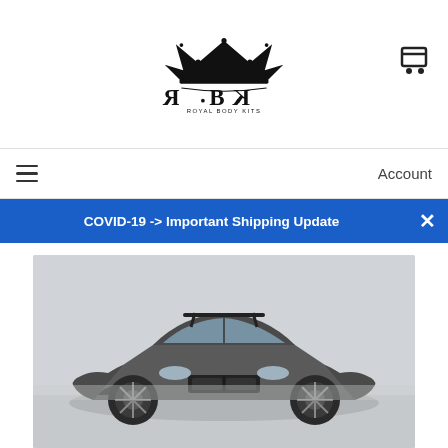Royal Body Kits logo with crown and RBK monogram
Account
COVID-19 -> Important Shipping Update
[Figure (photo): BMW M4 wide-body kit car with large rear wing, photographed from the front-left angle, matte grey finish, overcast sky background]